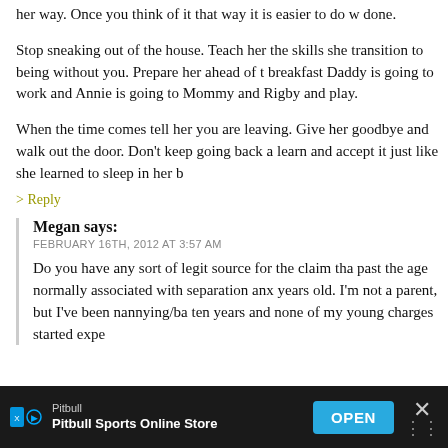her way. Once you think of it that way it is easier to do w done.
Stop sneaking out of the house. Teach her the skills she transition to being without you. Prepare her ahead of t breakfast Daddy is going to work and Annie is going to Mommy and Rigby and play.
When the time comes tell her you are leaving. Give her goodbye and walk out the door. Don't keep going back a learn and accept it just like she learned to sleep in her b
> Reply
Megan says:
FEBRUARY 16TH, 2012 AT 3:57 AM
Do you have any sort of legit source for the claim tha past the age normally associated with separation anx years old. I'm not a parent, but I've been nannying/ba ten years and none of my young charges started expe